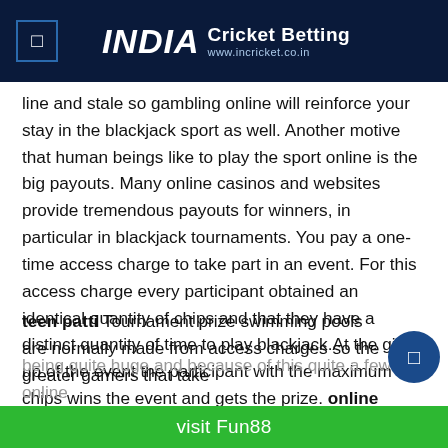INDIA Cricket Betting www.incricket.co.in
line and stale so gambling online will reinforce your stay in the blackjack sport as well. Another motive that human beings like to play the sport online is the big payouts. Many online casinos and websites provide tremendous payouts for winners, in particular in blackjack tournaments. You pay a one-time access charge to take part in an event. For this access charge every participant obtained an identical quantity of chips and that they have a distinct quantity of time to play blackjack.At the give up of the event the participant with the maximum chips wins the event and gets the prize. online lottery
teen patti Tournament prize swimming pools are normally made from access charges so the greater gamers that take
being quite huge and because of this quite a few online